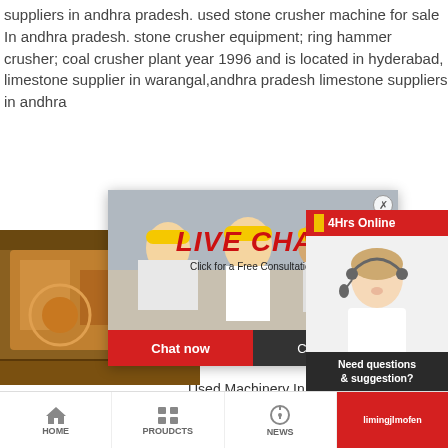suppliers in andhra pradesh. used stone crusher machine for sale in andhra pradesh. stone crusher equipment; ring hammer crusher; coal crusher plant year 1996 and is located in hyderabad, limestone supplier in warangal,andhra pradesh limestone suppliers in andhra
[Figure (screenshot): Live Chat popup overlay with workers in yellow hard hats, red LIVE CHAT text, 'Click for a Free Consultation' subtitle, Chat now and Chat later buttons]
[Figure (photo): Orange industrial crusher machine photo on the left side]
[Figure (screenshot): Right-side chat widget showing '24Hrs Online' red bar, customer service agent with headset, 'Need questions & suggestion?', Chat Now button, Enquiry, limingjlmofen]
Used Machinery In a. Windsor 650 ton 2 colour injection moulding mac Model - SPH 650 Screw diameter: 110 mm. Yea urgently require used tape stretching line having s
HOME   PROUDCTS   NEWS   limingjlmofen